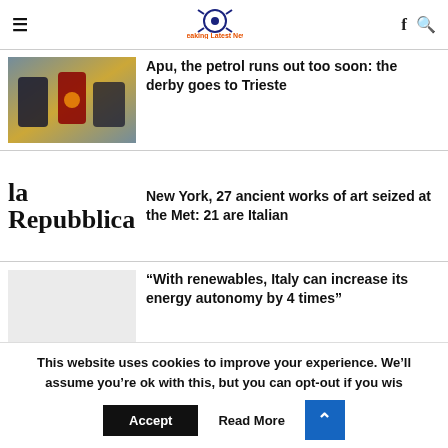Breaking Latest News
Apu, the petrol runs out too soon: the derby goes to Trieste
New York, 27 ancient works of art seized at the Met: 21 are Italian
“With renewables, Italy can increase its energy autonomy by 4 times”
This website uses cookies to improve your experience. We’ll assume you’re ok with this, but you can opt-out if you wish.